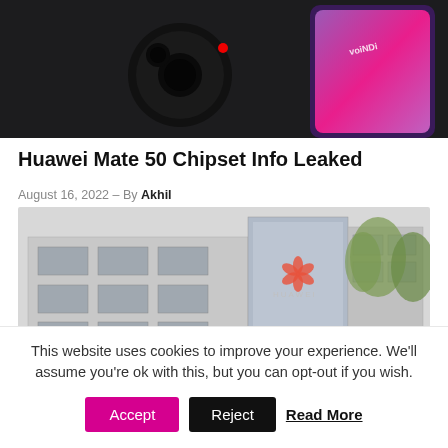[Figure (photo): Top portion of a smartphone with camera module visible, with another phone showing purple screen in background]
Huawei Mate 50 Chipset Info Leaked
August 16, 2022 – By Akhil
[Figure (photo): Huawei corporate building with glass facade and Huawei logo visible]
This website uses cookies to improve your experience. We'll assume you're ok with this, but you can opt-out if you wish.
Accept | Reject | Read More